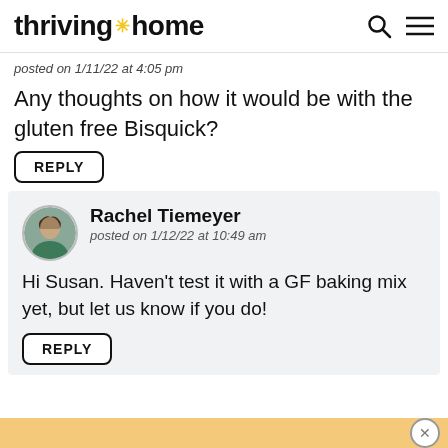thriving * home
posted on 1/11/22 at 4:05 pm
Any thoughts on how it would be with the gluten free Bisquick?
REPLY
Rachel Tiemeyer
posted on 1/12/22 at 10:49 am
Hi Susan. Haven't test it with a GF baking mix yet, but let us know if you do!
REPLY